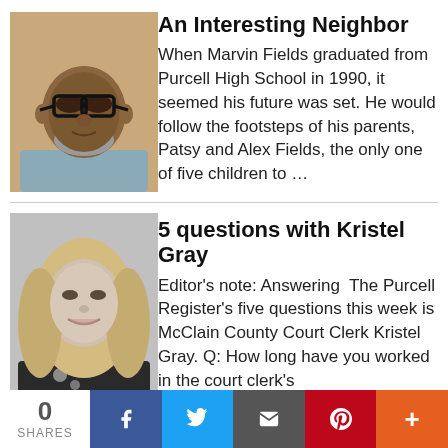[Figure (photo): Color headshot photo of Marvin Fields, a Black man with glasses and a grey beard]
An Interesting Neighbor
When Marvin Fields graduated from Purcell High School in 1990, it seemed his future was set. He would follow the footsteps of his parents, Patsy and Alex Fields, the only one of five children to …
[Figure (photo): Black and white headshot photo of Kristel Gray, a woman with long blonde hair, smiling]
5 questions with Kristel Gray
Editor's note: Answering  The Purcell Register's five questions this week is McClain County Court Clerk Kristel Gray. Q: How long have you worked in the court clerk's
0 SHARES  [Facebook] [Twitter] [Email] [Pinterest] [More]